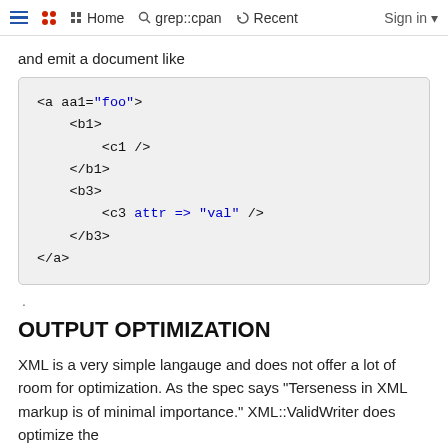Home  grep::cpan  Recent  Sign in
and emit a document like
<a aa1="foo">
    <b1>
        <c1 />
    </b1>
    <b3>
        <c3 attr => "val" />
    </b3>
</a>
.
OUTPUT OPTIMIZATION
XML is a very simple langauge and does not offer a lot of room for optimization. As the spec says "Terseness in XML markup is of minimal importance." XML::ValidWriter does optimize the